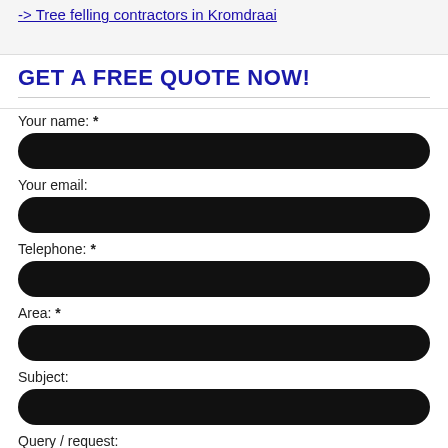-> Tree felling contractors in Kromdraai
GET A FREE QUOTE NOW!
Your name: *
Your email:
Telephone: *
Area: *
Subject:
Query / request:
Details